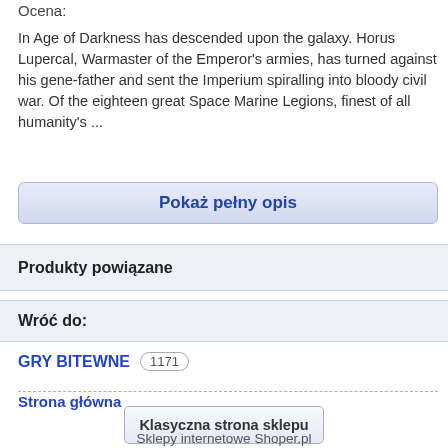Ocena:
In Age of Darkness has descended upon the galaxy. Horus Lupercal, Warmaster of the Emperor's armies, has turned against his gene-father and sent the Imperium spiralling into bloody civil war. Of the eighteen great Space Marine Legions, finest of all humanity's ...
Pokaż pełny opis
Produkty powiązane
Wróć do:
GRY BITEWNE  1171
Strona główna
Klasyczna strona sklepu
Sklepy internetowe Shoper.pl